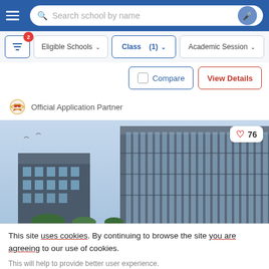Search school by name
Eligible Schools   Class (1)   Academic Session
Compare   View Details
Official Application Partner
[Figure (photo): Modern multi-story school building with glass facade under a light sky]
This site uses cookies. By continuing to browse the site you are agreeing to our use of cookies. This will help to provide better user experience.
Ok, I Understand